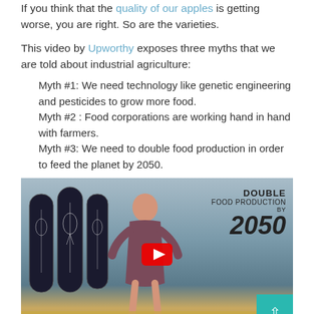If you think that the quality of our apples is getting worse, you are right. So are the varieties.
This video by Upworthy exposes three myths that we are told about industrial agriculture:
Myth #1: We need technology like genetic engineering and pesticides to grow more food.
Myth #2 : Food corporations are working hand in hand with farmers.
Myth #3: We need to double food production in order to feed the planet by 2050.
[Figure (screenshot): Video thumbnail showing a woman standing in front of chalkboard panels with plant diagrams, in a field setting, with text overlay 'DOUBLE FOOD PRODUCTION BY 2050' and a YouTube play button. A teal scroll-up button is in the bottom right corner.]